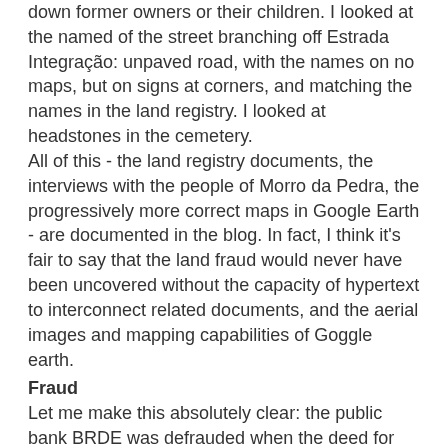down former owners or their children. I looked at the named of the street branching off Estrada Integração: unpaved road, with the names on no maps, but on signs at corners, and matching the names in the land registry. I looked at headstones in the cemetery.
All of this - the land registry documents, the interviews with the people of Morro da Pedra, the progressively more correct maps in Google Earth - are documented in the blog. In fact, I think it's fair to say that the land fraud would never have been uncovered without the capacity of hypertext to interconnect related documents, and the aerial images and mapping capabilities of Goggle earth.
Fraud
Let me make this absolutely clear: the public bank BRDE was defrauded when the deed for Parcel 2025 was presented to it as a loan guarantee, when in fact the Hotel Ocara was built on a different parcel, with a value a mere fraction of the loan principal. Dana Wayne Harbour, your neighbor at Colina and fellow American naturist, was also defrauded when he was told that Parcel 2025 underlay the hotel; and when in exchange for his R$250,000 he got 20% of the investment, while He Who Must Not Be Named and